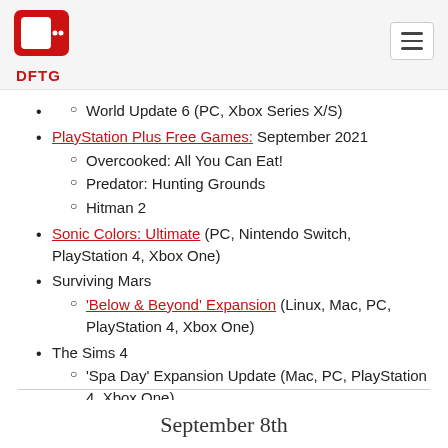DFTG
World Update 6 (PC, Xbox Series X/S)
PlayStation Plus Free Games: September 2021
Overcooked: All You Can Eat!
Predator: Hunting Grounds
Hitman 2
Sonic Colors: Ultimate (PC, Nintendo Switch, PlayStation 4, Xbox One)
Surviving Mars
'Below & Beyond' Expansion (Linux, Mac, PC, PlayStation 4, Xbox One)
The Sims 4
'Spa Day' Expansion Update (Mac, PC, PlayStation 4, Xbox One)
Vampire: The Masquerade – Bloodhunt
Steam Early Access (PC)
September 8th